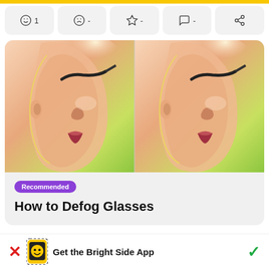[Figure (other): A row of five icon buttons: smiley face with '1', sad face with '-', star with '-', speech bubble with '-', and share icon]
[Figure (illustration): Side-by-side illustration of a woman's face in profile view wearing glasses, against a green gradient background, shown twice]
Recommended
How to Defog Glasses
Get the Bright Side App